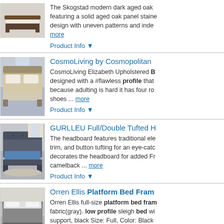[Figure (photo): Product photo of a dark wood platform bed (Skogstad)]
The Skogstad modern dark aged oak bed featuring a solid aged oak panel stained design with uneven patterns and inden... more
Product Info ▼
[Figure (photo): Product photo of CosmoLiving Elizabeth upholstered bed in a bedroom setting]
CosmoLiving by Cosmopolitan
CosmoLiving Elizabeth Upholstered B designed with a #flawless profile that because adulting is hard it has four ro shoes ... more
Product Info ▼
[Figure (photo): Product photo of GURLLEU Full/Double Tufted bed in a bedroom setting]
GURLLEU Full/Double Tufted H
The headboard features traditional ele trim, and button tufting for an eye-cat decorates the headboard for added Fr camelback ... more
Product Info ▼
[Figure (photo): Product photo of Orren Ellis Platform Bed Frame in gray fabric]
Orren Ellis Platform Bed Fram
Orren Ellis full-size platform bed fram fabric(gray). low profile sleigh bed wi support, black Size: Full, Color: Black Upholstered ... more
Product Info ▼
Corrigan Studio® Bernan Low